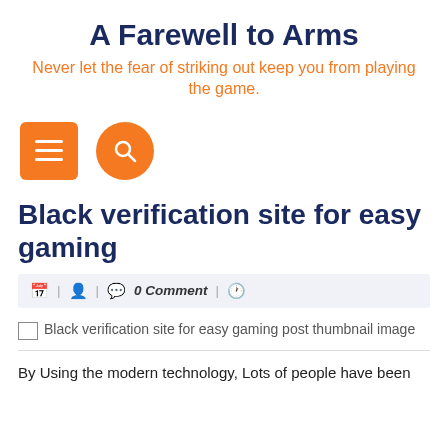A Farewell to Arms
Never let the fear of striking out keep you from playing the game.
[Figure (screenshot): Orange square hamburger menu button and orange circle search button (navigation icons)]
Black verification site for easy gaming
| 🧑 | 💬 0 Comment | 🕐
[Figure (photo): Broken image placeholder: Black verification site for easy gaming post thumbnail image]
By Using the modern technology, Lots of people have been